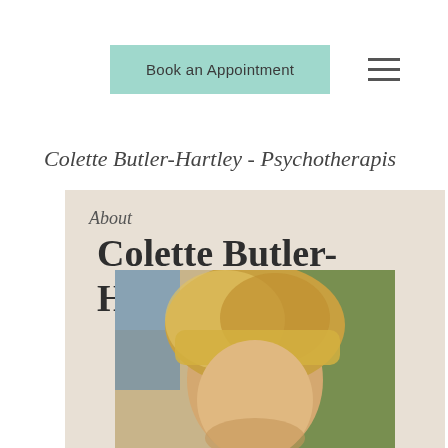Book an Appointment
Colette Butler-Hartley - Psychotherapist
About
Colette Butler-Hartley
[Figure (photo): Portrait photo of Colette Butler-Hartley, a woman with blonde hair with bangs, photographed indoors with a green background visible]